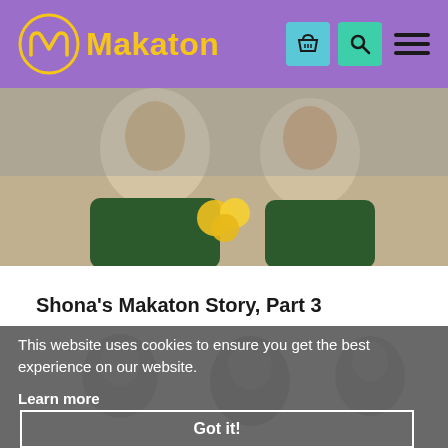[Figure (logo): Makaton logo: yellow circular M symbol with text 'Makaton' in yellow on purple background]
[Figure (photo): Two young people with Down syndrome in green polo shirts, smiling, with yellow flowers between them]
Shona's Makaton Story, Part 3
[Figure (photo): Background photo of children/people, shown in greyscale/muted tones behind cookie overlay]
This website uses cookies to ensure you get the best experience on our website.
Learn more
Got it!